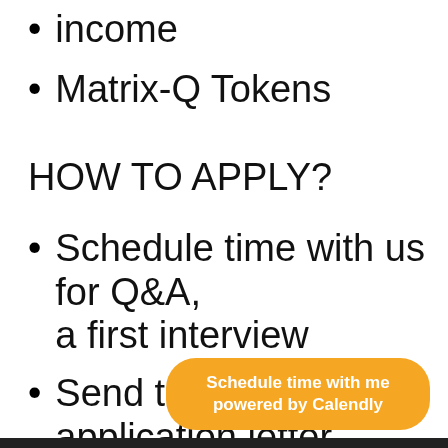income
Matrix-Q Tokens
HOW TO APPLY?
Schedule time with us for Q&A, a first interview
Send to us an application letter, with your CV before the interview
Schedule time with me
powered by Calendly